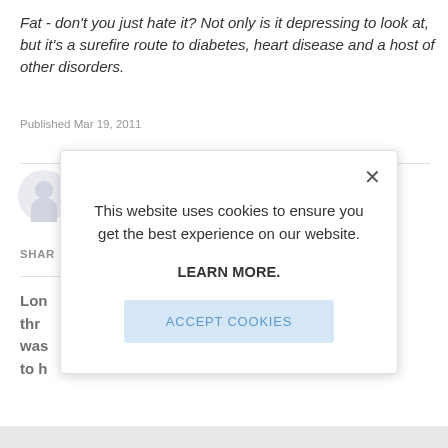Fat - don't you just hate it? Not only is it depressing to look at, but it's a surefire route to diabetes, heart disease and a host of other disorders.
Published Mar 19, 2011
SHAR
Lon
thr
was
to h
This website uses cookies to ensure you get the best experience on our website.

LEARN MORE.

ACCEPT COOKIES